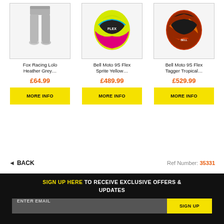[Figure (photo): Fox Racing Lolo Heather Grey jogger pants on a model]
Fox Racing Lolo Heather Grey…
£64.99
MORE INFO
[Figure (photo): Bell Moto 9S Flex Sprite Yellow motocross helmet]
Bell Moto 9S Flex Sprite Yellow…
£489.99
MORE INFO
[Figure (photo): Bell Moto 9S Flex Tagger Tropical motocross helmet]
Bell Moto 9S Flex Tagger Tropical…
£529.99
MORE INFO
◄ BACK
Ref Number: 35331
SIGN UP HERE TO RECEIVE EXCLUSIVE OFFERS & UPDATES
ENTER EMAIL
SIGN UP